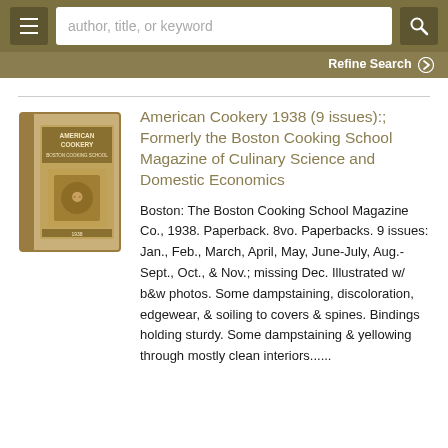author, title, or keyword | Refine Search
[Figure (illustration): Book cover thumbnail for American Cookery magazine]
American Cookery 1938 (9 issues):; Formerly the Boston Cooking School Magazine of Culinary Science and Domestic Economics
Boston: The Boston Cooking School Magazine Co., 1938. Paperback. 8vo. Paperbacks. 9 issues: Jan., Feb., March, April, May, June-July, Aug.-Sept., Oct., & Nov.; missing Dec. Illustrated w/ b&w photos. Some dampstaining, discoloration, edgewear, & soiling to covers & spines. Bindings holding sturdy. Some dampstaining & yellowing through mostly clean interiors......